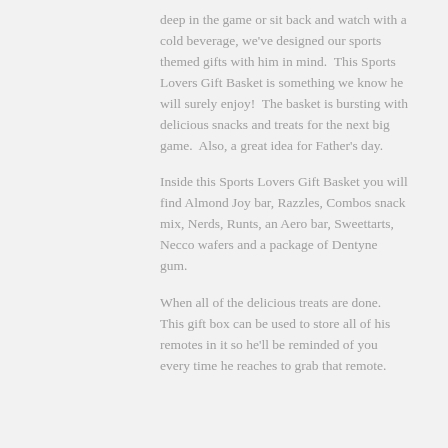deep in the game or sit back and watch with a cold beverage, we've designed our sports themed gifts with him in mind.  This Sports Lovers Gift Basket is something we know he will surely enjoy!  The basket is bursting with delicious snacks and treats for the next big game.  Also, a great idea for Father's day.
Inside this Sports Lovers Gift Basket you will find Almond Joy bar, Razzles, Combos snack mix, Nerds, Runts, an Aero bar, Sweettarts, Necco wafers and a package of Dentyne gum.
When all of the delicious treats are done.  This gift box can be used to store all of his remotes in it so he'll be reminded of you every time he reaches to grab that remote.